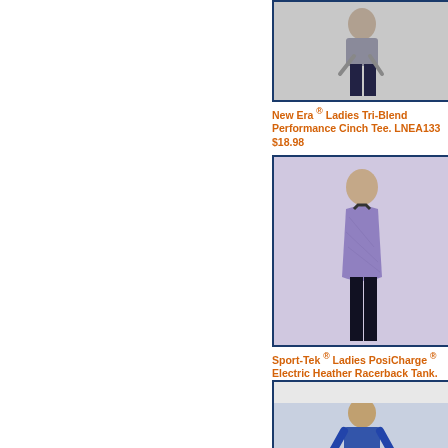[Figure (photo): New Era Ladies Tri-Blend Performance Cinch Tee product photo - woman in dark pants]
[Figure (photo): OGIO Ladies Luuma Cuffed Short Sleeve product photo - woman in pink top]
New Era ® Ladies Tri-Blend Performance Cinch Tee. LNEA133 $18.98
OGIO ® Ladies Luuma Cuffed Short Sleeve. LOG800 $21.50
[Figure (photo): Sport-Tek Ladies PosiCharge Electric Heather Racerback Tank - woman in purple tank]
[Figure (photo): Sport-Tek Ladies PosiCharge Tri-Blend Wicking Scoop Neck Raglan Tee - woman in grey top]
Sport-Tek ® Ladies PosiCharge ® Electric Heather Racerback Tank. LST396 $10.98
Sport-Tek ® Ladies PosiCharge ® Tri-Blend Wicking Scoop Neck Raglan Tee. LST400 $10.5
[Figure (photo): Male model in blue long sleeve shirt]
[Figure (photo): Male model in grey/black raglan shirt]